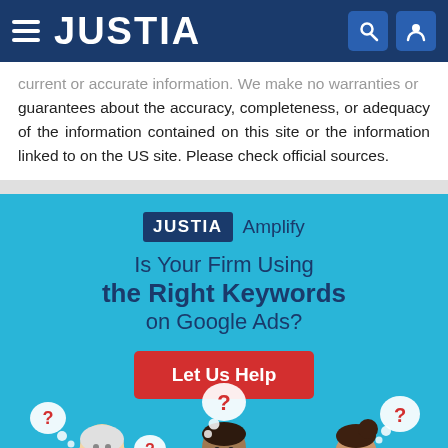JUSTIA
current or accurate information. We make no warranties or guarantees about the accuracy, completeness, or adequacy of the information contained on this site or the information linked to on the US site. Please check official sources.
[Figure (infographic): Justia Amplify advertisement banner on a light blue background. Contains JUSTIA logo badge, 'Amplify' text, headline 'Is Your Firm Using the Right Keywords on Google Ads?', a red 'Let Us Help' button, and an illustration of three people with question mark thought bubbles.]